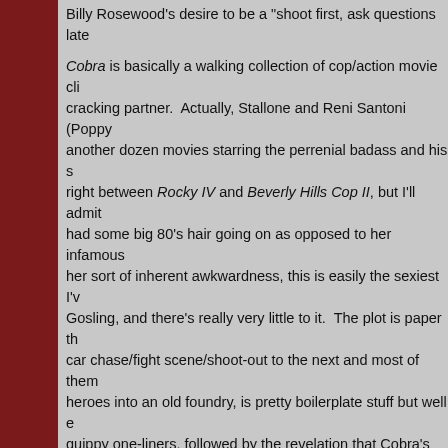Billy Rosewood's desire to be a "shoot first, ask questions late
Cobra is basically a walking collection of cop/action movie cli... cracking partner.  Actually, Stallone and Reni Santoni (Poppy... another dozen movies starring the perrenial badass and his s... right between Rocky IV and Beverly Hills Cop II, but I'll admit... had some big 80's hair going on as opposed to her infamous... her sort of inherent awkwardness, this is easily the sexiest I'v... Gosling, and there's really very little to it.  The plot is paper th... car chase/fight scene/shoot-out to the next and most of them... heroes into an old foundry, is pretty boilerplate stuff but well e... quippy one-liners, followed by the revelation that Cobra's real
Perfection.
I finished the movie, landed in Nashville, and proceeded to sp... could find.  Most of the guys had gotten into New Orleans the... figured I had some catching up to do
It was 9 AM.  I cleaned them out of Jameson.
I landed in New Orleans with a good buzz going, dropped my